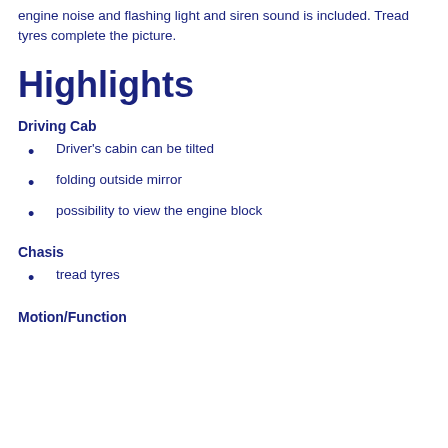engine noise and flashing light and siren sound is included. Tread tyres complete the picture.
Highlights
Driving Cab
Driver's cabin can be tilted
folding outside mirror
possibility to view the engine block
Chasis
tread tyres
Motion/Function